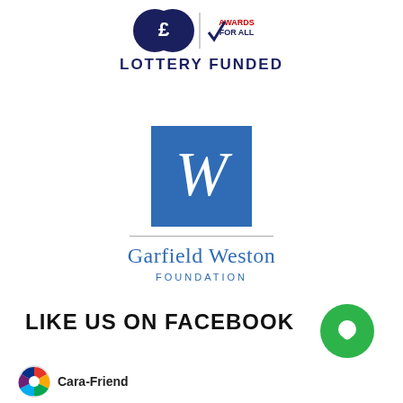[Figure (logo): Big Lottery Fund / Awards for All logo — blue circles and red/blue awards badge]
LOTTERY FUNDED
[Figure (logo): Garfield Weston Foundation logo — blue square with italic W, horizontal rule, name in blue serif font]
LIKE US ON FACEBOOK
[Figure (logo): Green circle chat bubble icon]
[Figure (logo): Cara-Friend coloured circular logo]
Cara-Friend